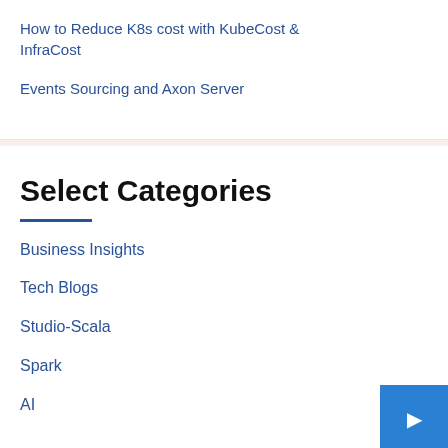How to Reduce K8s cost with KubeCost & InfraCost
Events Sourcing and Axon Server
Select Categories
Business Insights
Tech Blogs
Studio-Scala
Spark
AI